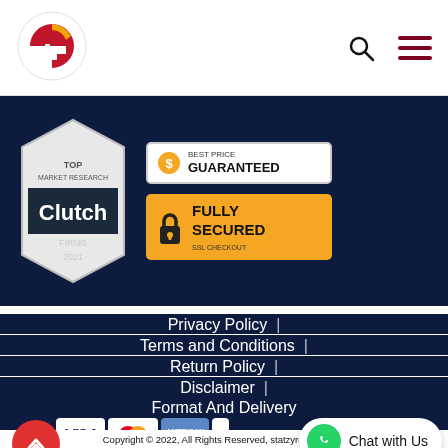StatzyReports logo, search icon, hamburger menu
[Figure (logo): StatzyReports logo - circular icon with bar chart and letter G, red and gold colors]
[Figure (infographic): Banner section with Clutch Top Market Research Firms 2021 badge, Best Price Guaranteed badge, and Fully Secured SSL Checkout badge on dark navy background]
Privacy Policy  |
Terms and Conditions  |
Return Policy  |
Disclaimer  |
Format And Delivery
[Figure (infographic): Payment method icons: VISA, MasterCard, American Express, Discover]
[Figure (infographic): WhatsApp Chat with Us button]
Copyright © 2022, All Rights Reserved, statzyreports.com